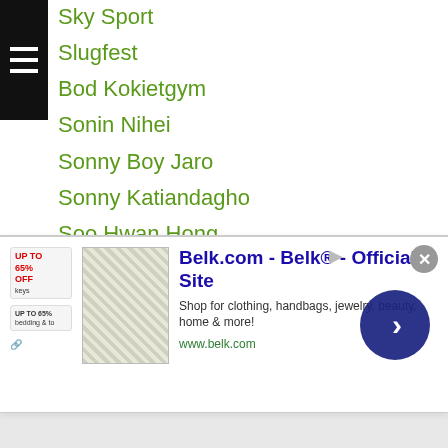Sky Sport
Slugfest
Bod Kokietgym
Sonin Nihei
Sonny Boy Jaro
Sonny Katiandagho
Soo Hwan Hong
Soo Lee
Sora Fukunaga
Sora Sunohara
Sora Takeda
Soreike Taichi
South East Asian Games
South Korea
Sparring Event
Spice Matsushita
[Figure (other): Belk.com advertisement banner with infolinks branding, showing Belk official site ad for clothing, handbags, jewelry, beauty, home & more. URL: www.belk.com]